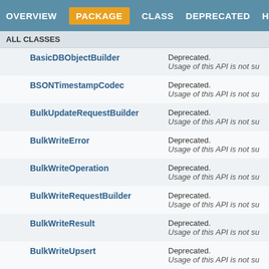OVERVIEW  PACKAGE  CLASS  DEPRECATED  HELP
ALL CLASSES
| Class | Description |
| --- | --- |
| BasicDBObjectBuilder | Deprecated.
Usage of this API is not su |
| BSONTimestampCodec | Deprecated.
Usage of this API is not su |
| BulkUpdateRequestBuilder | Deprecated.
Usage of this API is not su |
| BulkWriteError | Deprecated.
Usage of this API is not su |
| BulkWriteOperation | Deprecated.
Usage of this API is not su |
| BulkWriteRequestBuilder | Deprecated.
Usage of this API is not su |
| BulkWriteResult | Deprecated.
Usage of this API is not su |
| BulkWriteUpsert | Deprecated.
Usage of this API is not su |